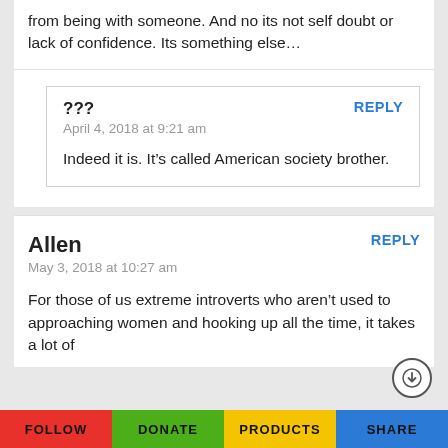from being with someone. And no its not self doubt or lack of confidence. Its something else…
???
April 4, 2018 at 9:21 am
REPLY
Indeed it is. It’s called American society brother.
Allen
May 3, 2018 at 10:27 am
REPLY
For those of us extreme introverts who aren’t used to approaching women and hooking up all the time, it takes a lot of
FOLLOW   DONATE   PRODUCTS   SHARE